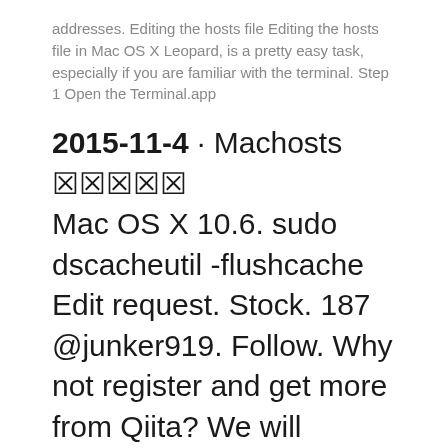addresses. Editing the hosts file Editing the hosts file in Mac OS X Leopard, is a pretty easy task, especially if you are familiar with the terminal. Step 1 Open the Terminal.app
2015-11-4 · Mac hosts[unreadable chars] Mac OS X 10.6. sudo dscacheutil -flushcache Edit request. Stock. 187 @junker919. Follow. Why not register and get more from Qiita? We will deliver articles that match you. By following users and tags, you can catch up information on technical fields that you are interested in as a whole.